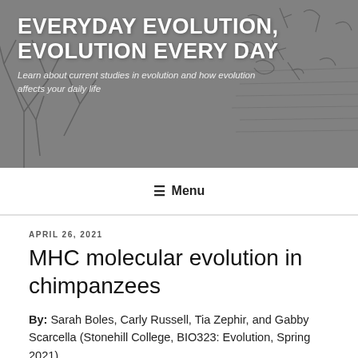[Figure (illustration): Website header banner with a grey background showing faint handwritten tree/sketch diagrams (phylogenetic tree-like drawings) with white bold text overlay reading 'EVERYDAY EVOLUTION, EVOLUTION EVERY DAY' and subtitle 'Learn about current studies in evolution and how evolution affects your daily life']
EVERYDAY EVOLUTION, EVOLUTION EVERY DAY
Learn about current studies in evolution and how evolution affects your daily life
☰ Menu
APRIL 26, 2021
MHC molecular evolution in chimpanzees
By: Sarah Boles, Carly Russell, Tia Zephir, and Gabby Scarcella (Stonehill College, BIO323: Evolution, Spring 2021)
Have you ever wondered how your immune system just